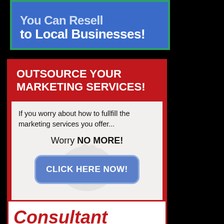You Can Resell to Local Businesses!
OUTSOURCE YOUR MARKETING SERVICES!
If you worry about how to fullfill the marketing services you offer...
Worry NO MORE!
CLICK HERE NOW!
Consultant